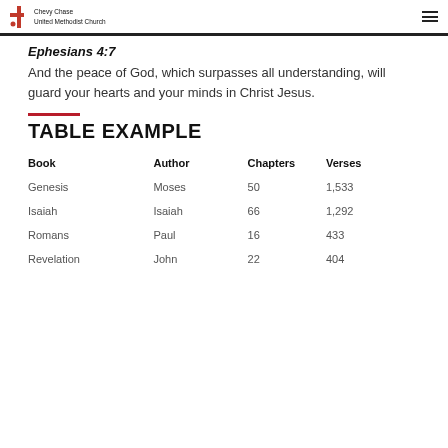Chevy Chase United Methodist Church
Ephesians 4:7
And the peace of God, which surpasses all understanding, will guard your hearts and your minds in Christ Jesus.
TABLE EXAMPLE
| Book | Author | Chapters | Verses |
| --- | --- | --- | --- |
| Genesis | Moses | 50 | 1,533 |
| Isaiah | Isaiah | 66 | 1,292 |
| Romans | Paul | 16 | 433 |
| Revelation | John | 22 | 404 |